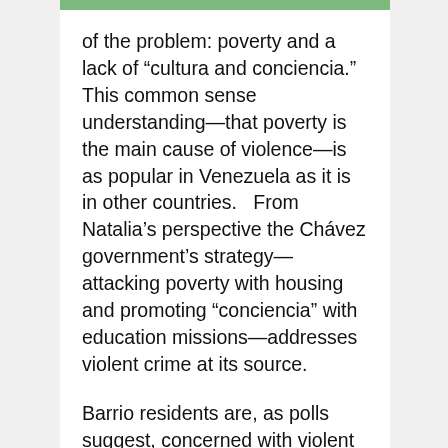of the problem: poverty and a lack of “cultura and conciencia.” This common sense understanding—that poverty is the main cause of violence—is as popular in Venezuela as it is in other countries.   From Natalia’s perspective the Chávez government’s strategy—attacking poverty with housing and promoting “conciencia” with education missions—addresses violent crime at its source.
Barrio residents are, as polls suggest, concerned with violent crime. However, the perceptions above from the Barrio’s inhabitants are...